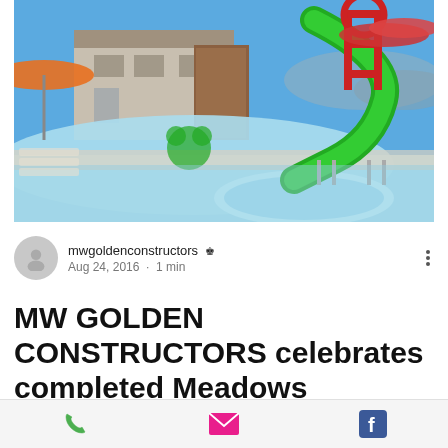[Figure (photo): Outdoor water park/aquatic center with a large green water slide, colorful red water play structure, orange umbrella, blue sky, and a building in the background. Foreground shows a pool and hot tub area.]
mwgoldenconstructors 👑
Aug 24, 2016 · 1 min
MW GOLDEN CONSTRUCTORS celebrates completed Meadows Neighborhood